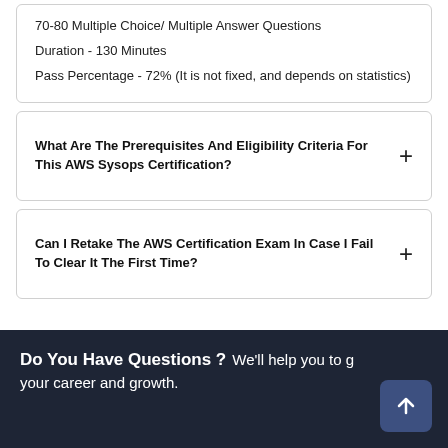70-80 Multiple Choice/ Multiple Answer Questions
Duration - 130 Minutes
Pass Percentage - 72% (It is not fixed, and depends on statistics)
What Are The Prerequisites And Eligibility Criteria For This AWS Sysops Certification?
Can I Retake The AWS Certification Exam In Case I Fail To Clear It The First Time?
Do You Have Questions ? We'll help you to grow your career and growth.